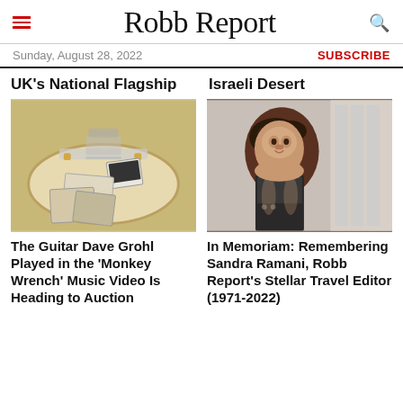Robb Report
Sunday, August 28, 2022
SUBSCRIBE
UK's National Flagship
Israeli Desert
[Figure (photo): A cream/white electric guitar with photos scattered around it]
[Figure (photo): Portrait photo of Sandra Ramani, a woman with dark hair smiling]
The Guitar Dave Grohl Played in the 'Monkey Wrench' Music Video Is Heading to Auction
In Memoriam: Remembering Sandra Ramani, Robb Report's Stellar Travel Editor (1971-2022)